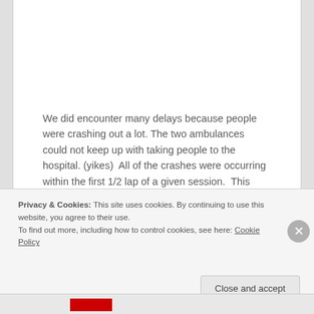We did encounter many delays because people were crashing out a lot. The two ambulances could not keep up with taking people to the hospital. (yikes)  All of the crashes were occurring within the first 1/2 lap of a given session.  This means that the yahoos didn't allow the tires to warm up, thus crashing out. (tisk tisk)
Privacy & Cookies: This site uses cookies. By continuing to use this website, you agree to their use.
To find out more, including how to control cookies, see here: Cookie Policy